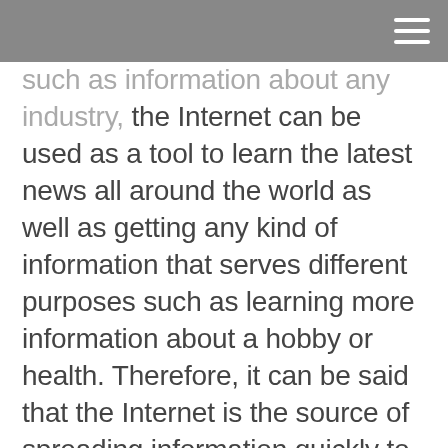such as information about any industry, the Internet can be used as a tool to learn the latest news all around the world as well as getting any kind of information that serves different purposes such as learning more information about a hobby or health. Therefore, it can be said that the Internet is the source of spreading information quickly to a large audience and of going beyond the limitation of time and space. In the light of the above information, it is vitally important to encourage students to use this invaluable source to get any kind of information they need in their academic studies. For the reasons mentioned above, the aim of this